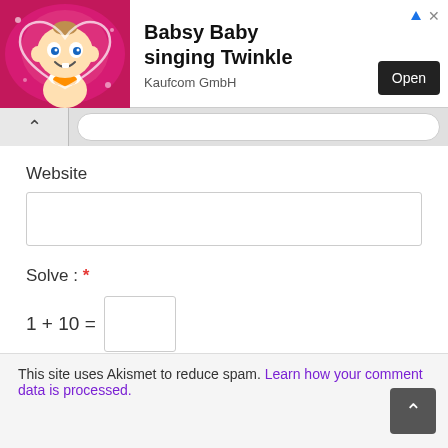[Figure (screenshot): Ad banner for 'Babsy Baby singing Twinkle' by Kaufcom GmbH with an Open button, showing a cartoon baby illustration on pink background]
Babsy Baby singing Twinkle
Kaufcom GmbH
Website
Solve : *
Post Comment
This site uses Akismet to reduce spam. Learn how your comment data is processed.